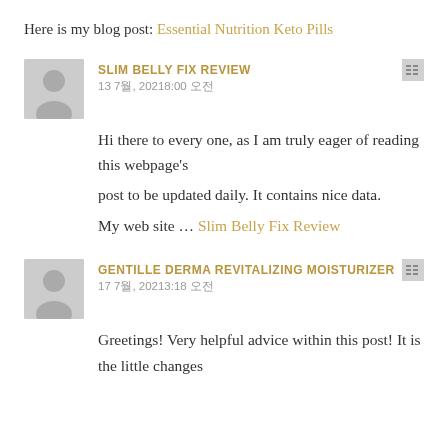Here is my blog post: Essential Nutrition Keto Pills
SLIM BELLY FIX REVIEW
13 7월, 20218:00 오전
Hi there to every one, as I am truly eager of reading this webpage's post to be updated daily. It contains nice data.
My web site ... Slim Belly Fix Review
GENTILLE DERMA REVITALIZING MOISTURIZER
17 7월, 20213:18 오전
Greetings! Very helpful advice within this post! It is the little changes